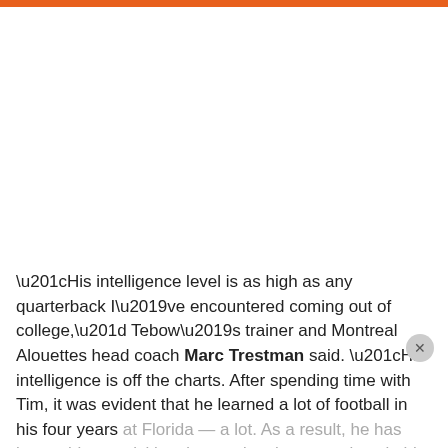“His intelligence level is as high as any quarterback I’ve encountered coming out of college,” Tebow’s trainer and Montreal Alouettes head coach Marc Trestman said. “His intelligence is off the charts. After spending time with Tim, it was evident that he learned a lot of football in his four years at Florida — a lot. As a result, he has been able to quickly adapt and make corrections in his throwing motion and footwork that will allow him to get the ball out faster and